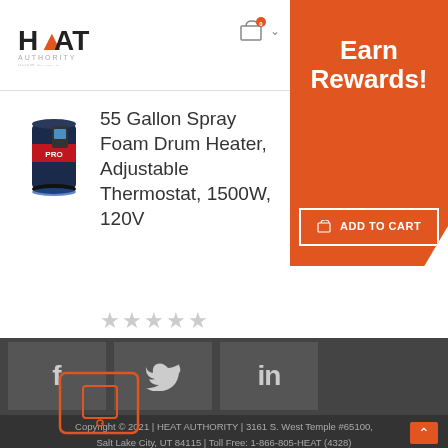[Figure (logo): Heat Authority logo with flame icon, red/orange color]
[Figure (infographic): Orange Earn Rewards banner in top right with Add to Cart button]
55 Gallon Spray Foam Drum Heater, Adjustable Thermostat, 1500W, 120V
[Figure (photo): Product photo of drum heater, black and blue cylinder]
★★★★★ (empty star rating)
[Figure (infographic): Social media icons: Facebook, Twitter, LinkedIn]
Copyright © 2021 | HEAT AUTHORITY | 3161 S. West Temple #65100, Salt Lake City, UT 84115 | Toll Free: 1-866-805-HEAT (4328)